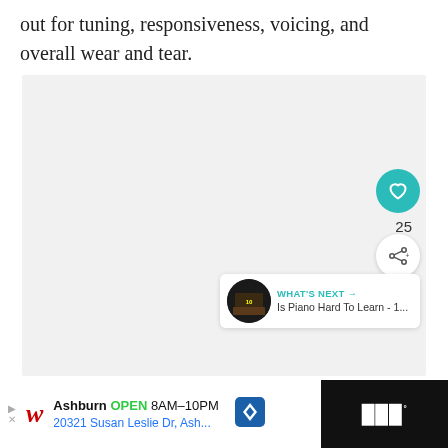out for tuning, responsiveness, voicing, and overall wear and tear.
[Figure (screenshot): Embedded video or image placeholder showing a piano-related content area, with a like button (heart icon, teal) showing 25 likes and a share button. A 'WHAT'S NEXT' card shows a thumbnail and title 'Is Piano Hard To Learn - 1...']
[Figure (screenshot): Advertisement bar at the bottom: Walgreens ad showing Ashburn OPEN 8AM-10PM, 20321 Susan Leslie Dr, Ash... with a navigation arrow icon and a Walmart+ logo on the right]